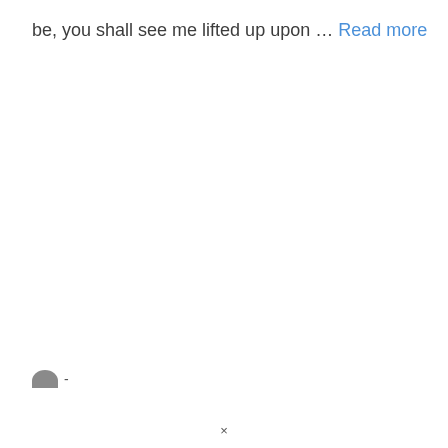be, you shall see me lifted up upon … Read more
[Figure (other): Small grey avatar/profile icon half-circle shape followed by a dash]
×